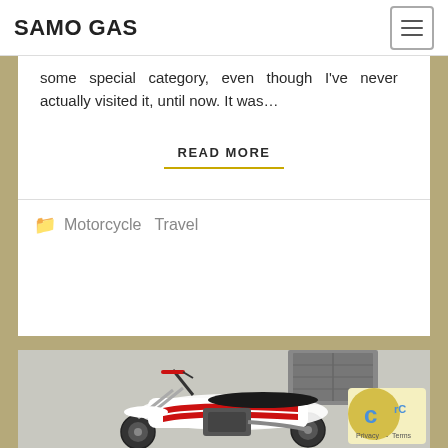SAMO GAS
some special category, even though I've never actually visited it, until now. It was…
READ MORE
Motorcycle Travel
[Figure (photo): Red and white dirt motorcycle (enduro/trail bike) parked against a grey wall with a shuttered window, photographed from the left side.]